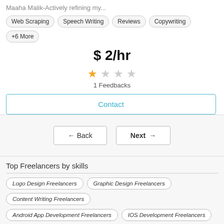Maaha Malik-Actively refining my...
Web Scraping
Speech Writing
Reviews
Copywriting
+6 More
$ 2/hr
1 Feedbacks
Contact
Back
Next
Top Freelancers by skills
Logo Design Freelancers
Graphic Design Freelancers
Content Writing Freelancers
Android App Development Freelancers
IOS Development Freelancers
Wordpress Freelancers
SEO Freelancers
Data Entry Freelancers